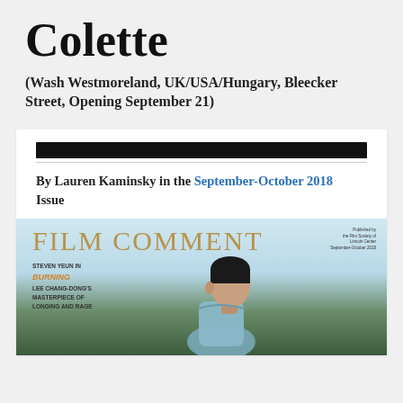Colette
(Wash Westmoreland, UK/USA/Hungary, Bleecker Street, Opening September 21)
[Figure (screenshot): Web article card showing a black navigation bar, byline reading 'By Lauren Kaminsky in the September-October 2018 Issue', and a Film Comment magazine cover featuring Steven Yeun with text 'FILM COMMENT', 'STEVEN YEUN IN BURNING', 'LEE CHANG-DONG'S MASTERPIECE OF LONGING AND RAGE', published by the Film Society of Lincoln Center, September-October 2018]
By Lauren Kaminsky in the September-October 2018 Issue